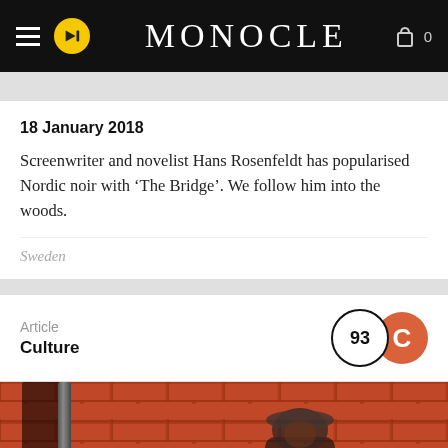MONOCLE
18 January 2018
Screenwriter and novelist Hans Rosenfeldt has popularised Nordic noir with ‘The Bridge’. We follow him into the woods.
Sweden
Article
Culture
[Figure (photo): Man in cap and dark coat standing against a red brick wall with a drainpipe, smiling]